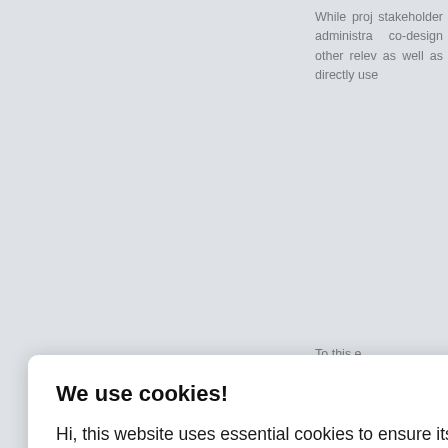While pro stakeholders administra co-design other relev as well as directly use
To this e
me
prop net ear owl
at i
pro eme s to eva om
[Figure (screenshot): Cookie consent modal dialog overlay on a webpage. Title: 'We use cookies!' Body text: 'Hi, this website uses essential cookies to ensure its proper operation and tracking cookies to understand how you interact with it. The latter will be set only after consent. Let me choose' with two buttons: 'Accept all' (dark navy blue) and 'Reject all' (light gray).]